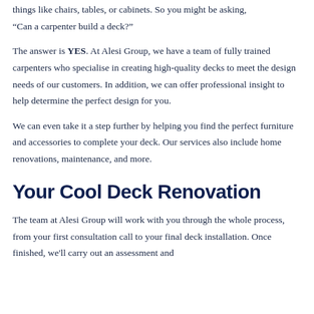things like chairs, tables, or cabinets. So you might be asking, "Can a carpenter build a deck?"
The answer is YES. At Alesi Group, we have a team of fully trained carpenters who specialise in creating high-quality decks to meet the design needs of our customers. In addition, we can offer professional insight to help determine the perfect design for you.
We can even take it a step further by helping you find the perfect furniture and accessories to complete your deck. Our services also include home renovations, maintenance, and more.
Your Cool Deck Renovation
The team at Alesi Group will work with you through the whole process, from your first consultation call to your final deck installation. Once finished, we'll carry out an assessment and